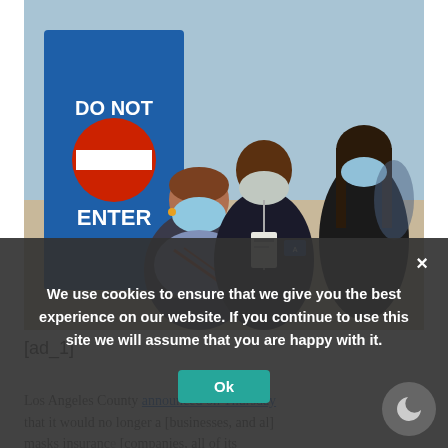[Figure (photo): People wearing face masks at an airport. A person in a wheelchair is being pushed by an airport worker with a lanyard badge. A 'DO NOT ENTER' sign with a red circle and horizontal bar is visible in the background.]
[ad_1]
Los Angeles County announced on Thursday that it would no longer require all businesses, masks insurance companies and permitted indoor gatherings — for time for each vaccinated and non-vaccinated
We use cookies to ensure that we give you the best experience on our website. If you continue to use this site we will assume that you are happy with it.